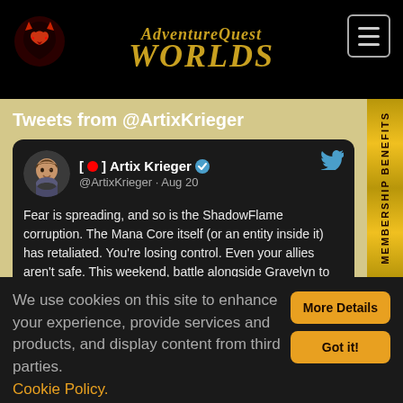[Figure (screenshot): AdventureQuest Worlds logo with dragon icon on black navigation bar, with hamburger menu button]
Tweets from @ArtixKrieger
[Figure (screenshot): Tweet by Artix Krieger (@ArtixKrieger) on Aug 20 with avatar, verified badge, and Twitter bird icon]
Fear is spreading, and so is the ShadowFlame corruption. The Mana Core itself (or an entity inside it) has retaliated. You're losing control. Even your allies aren't safe. This weekend, battle alongside Gravelyn to stop Malgor from reaching the TimeStrea…
instagr.am/p/Chd0iLTN9X1/
MEMBERSHIP BENEFITS
We use cookies on this site to enhance your experience, provide services and products, and display content from third parties. Cookie Policy.